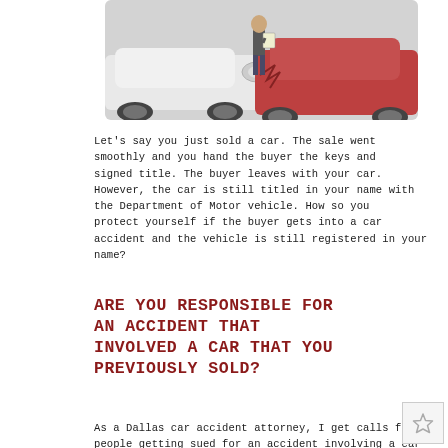[Figure (photo): Photo of two cars in a collision, one white and one red, with a person standing between them holding a clipboard, reviewing documents after an accident.]
Let's say you just sold a car.  The sale went smoothly and you hand the buyer the keys and signed title.  The buyer leaves with your car.  However, the car is still titled in your name with the Department of Motor vehicle.  How so you protect yourself if the buyer gets into a car accident and the vehicle is still registered in your name?
ARE YOU RESPONSIBLE FOR AN ACCIDENT THAT INVOLVED A CAR THAT YOU PREVIOUSLY SOLD?
As a Dallas car accident attorney, I get calls from people getting sued for an accident involving a car